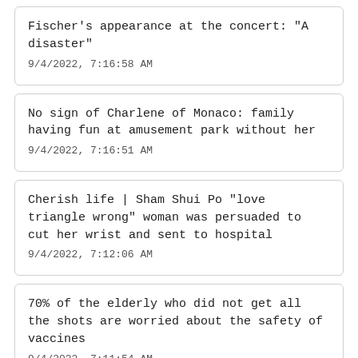Fischer's appearance at the concert: "A disaster"
9/4/2022, 7:16:58 AM
No sign of Charlene of Monaco: family having fun at amusement park without her
9/4/2022, 7:16:51 AM
Cherish life | Sham Shui Po "love triangle wrong" woman was persuaded to cut her wrist and sent to hospital
9/4/2022, 7:12:06 AM
70% of the elderly who did not get all the shots are worried about the safety of vaccines
9/4/2022, 7:11:54 AM